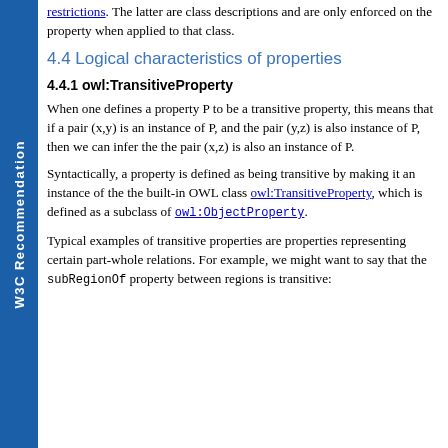restrictions. The latter are class descriptions and are only enforced on the property when applied to that class.
4.4 Logical characteristics of properties
4.4.1 owl:TransitiveProperty
When one defines a property P to be a transitive property, this means that if a pair (x,y) is an instance of P, and the pair (y,z) is also instance of P, then we can infer the the pair (x,z) is also an instance of P.
Syntactically, a property is defined as being transitive by making it an instance of the the built-in OWL class owl:TransitiveProperty, which is defined as a subclass of owl:ObjectProperty.
Typical examples of transitive properties are properties representing certain part-whole relations. For example, we might want to say that the subRegionOf property between regions is transitive: